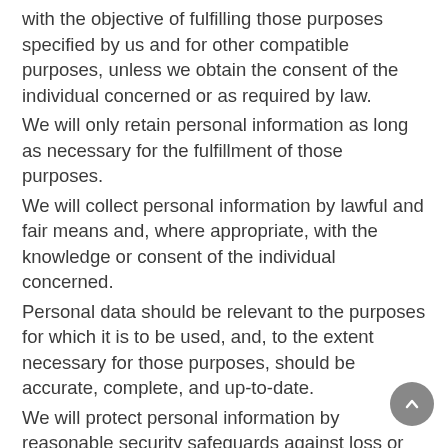with the objective of fulfilling those purposes specified by us and for other compatible purposes, unless we obtain the consent of the individual concerned or as required by law.
We will only retain personal information as long as necessary for the fulfillment of those purposes.
We will collect personal information by lawful and fair means and, where appropriate, with the knowledge or consent of the individual concerned.
Personal data should be relevant to the purposes for which it is to be used, and, to the extent necessary for those purposes, should be accurate, complete, and up-to-date.
We will protect personal information by reasonable security safeguards against loss or theft, as well as unauthorized access, disclosure, copying, use or modification.
We will make readily available to customers information